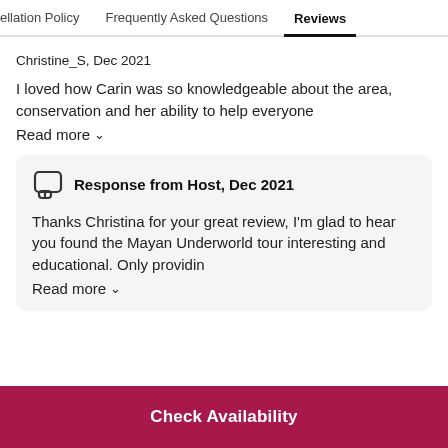ellation Policy   Frequently Asked Questions   Reviews
Christine_S, Dec 2021
I loved how Carin was so knowledgeable about the area, conservation and her ability to help everyone
Read more
Response from Host, Dec 2021
Thanks Christina for your great review, I'm glad to hear you found the Mayan Underworld tour interesting and educational. Only providin
Read more
Check Availability